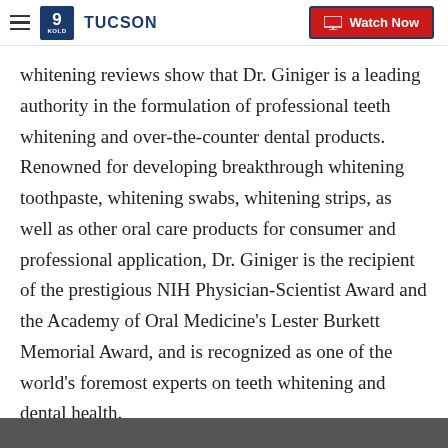9 KOLD TUCSON | Watch Now
whitening reviews show that Dr. Giniger is a leading authority in the formulation of professional teeth whitening and over-the-counter dental products. Renowned for developing breakthrough whitening toothpaste, whitening swabs, whitening strips, as well as other oral care products for consumer and professional application, Dr. Giniger is the recipient of the prestigious NIH Physician-Scientist Award and the Academy of Oral Medicine's Lester Burkett Memorial Award, and is recognized as one of the world's foremost experts on teeth whitening and dental health.
The Science
Recent Stories from kgun9.com
[Figure (photo): Bottom image bar, partially visible dark strip at bottom of page]